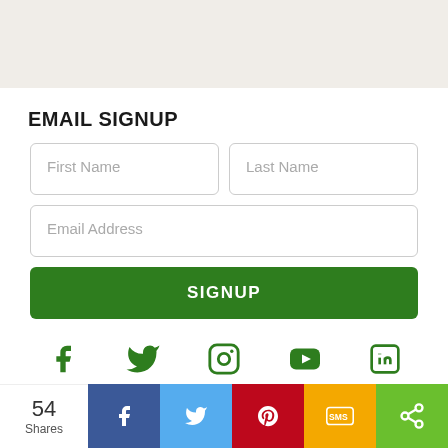EMAIL SIGNUP
[Figure (screenshot): Email signup form with First Name, Last Name, Email Address fields and a green SIGNUP button]
[Figure (infographic): Social media icons: Facebook, Twitter, Instagram, YouTube, LinkedIn - all in green]
ABOUT URI
[Figure (infographic): Share bar at bottom: 54 Shares count, Facebook (blue), Twitter (light blue), Pinterest (red), SMS (yellow/orange), More (green) share buttons]